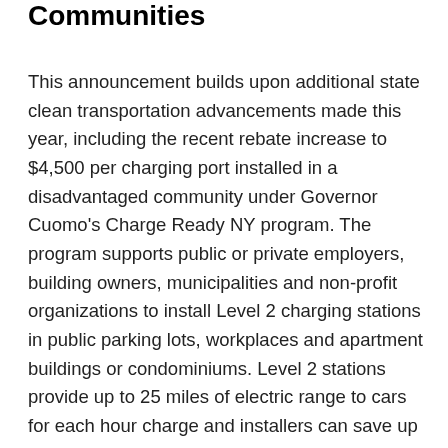Communities
This announcement builds upon additional state clean transportation advancements made this year, including the recent rebate increase to $4,500 per charging port installed in a disadvantaged community under Governor Cuomo's Charge Ready NY program. The program supports public or private employers, building owners, municipalities and non-profit organizations to install Level 2 charging stations in public parking lots, workplaces and apartment buildings or condominiums. Level 2 stations provide up to 25 miles of electric range to cars for each hour charge and installers can save up to 80 percent of a typical installation's total cost through this rebate. Additional clean transportation announcements made this year include the $701 million Make Ready order which earmarks $206 million toward equitable